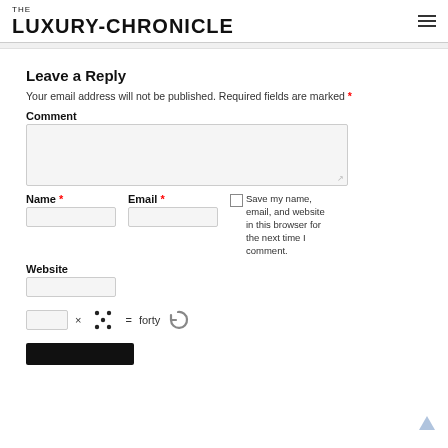THE LUXURY-CHRONICLE
Leave a Reply
Your email address will not be published. Required fields are marked *
Comment
Name * Email * Save my name, email, and website in this browser for the next time I comment.
Website
[captcha input] × [dice image] = forty [refresh icon]
[Figure (other): Submit button (black rectangle)]